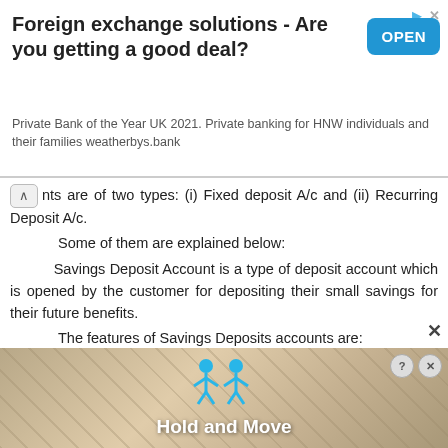[Figure (screenshot): Top advertisement banner for Weatherbys Bank foreign exchange solutions with OPEN button]
nts are of two types: (i) Fixed deposit A/c and (ii) Recurring Deposit A/c.
Some of them are explained below:
Savings Deposit Account is a type of deposit account which is opened by the customer for depositing their small savings for their future benefits.
The features of Savings Deposits accounts are:
a)   Withdrawal is made through cheques.
b)   There are certain restrictions on withdrawal of money.
[Figure (screenshot): Bottom advertisement banner with Hold and Move interactive element]